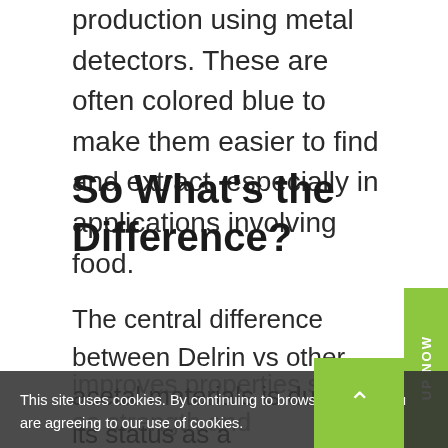production using metal detectors. These are often colored blue to make them easier to find and extract, especially in applications involving food.
So What's the Difference?
The central difference between Delrin vs other acetal materials is due to its status as a homopolymer. Rather than having several different subunits, this material's crystalline structure is entirely uniform. This improves properties such as strength and resistance to flex fatigue. It also increases
This site uses cookies. By continuing to browse the site, you are agreeing to our use of cookies.